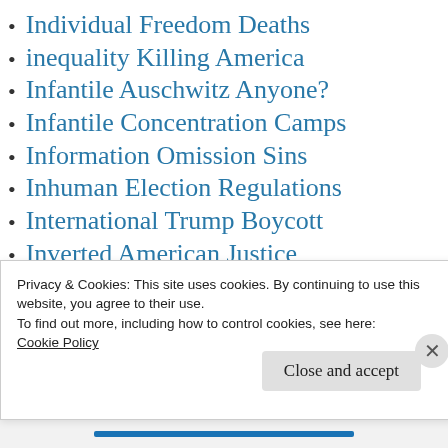Individual Freedom Deaths
inequality Killing America
Infantile Auschwitz Anyone?
Infantile Concentration Camps
Information Omission Sins
Inhuman Election Regulations
International Trump Boycott
Inverted American Justice
Is Taiwan China?
Is Trump Irrelevant?
Israel Lobby USA
Privacy & Cookies: This site uses cookies. By continuing to use this website, you agree to their use.
To find out more, including how to control cookies, see here:
Cookie Policy
Close and accept